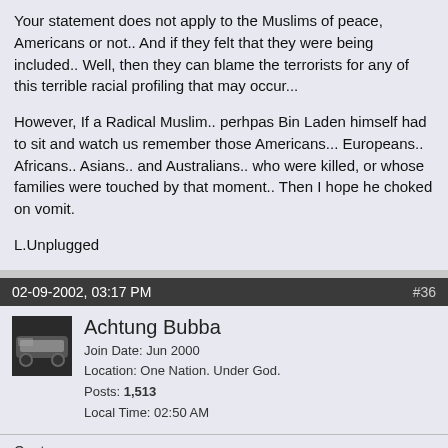Your statement does not apply to the Muslims of peace, Americans or not.. And if they felt that they were being included.. Well, then they can blame the terrorists for any of this terrible racial profiling that may occur...

However, If a Radical Muslim.. perhpas Bin Laden himself had to sit and watch us remember those Americans... Europeans.. Africans.. Asians.. and Australians.. who were killed, or whose families were touched by that moment.. Then I hope he choked on vomit.

L.Unplugged
02-09-2002, 03:17 PM  #36
[Figure (photo): Avatar image of a car, dark background]
Achtung Bubba
Join Date: Jun 2000
Location: One Nation. Under God.
Posts: 1,513
Local Time: 02:50 AM
Quote:
Originally posted by Lemonboy:
Well I think it is as distasteful of U2 to scroll the names of